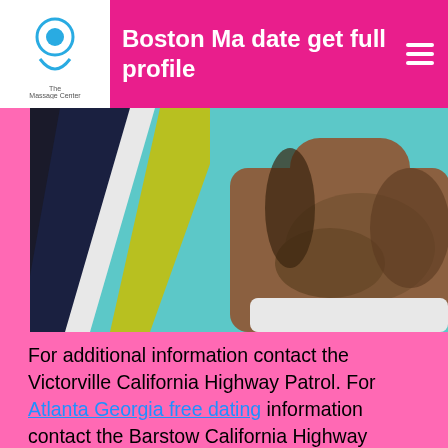Boston Ma date get full profile
[Figure (photo): Close-up photo of a man's neck and lower face with a beard, against a background with teal, black, and yellow-green diagonal stripes. The man is wearing a white shirt.]
For additional information contact the Victorville California Highway Patrol. For Atlanta Georgia free dating information contact the Barstow California Highway Patrol. For additional information please contact the Barstow Police Department. For additional information please contact the Highway Patrol.